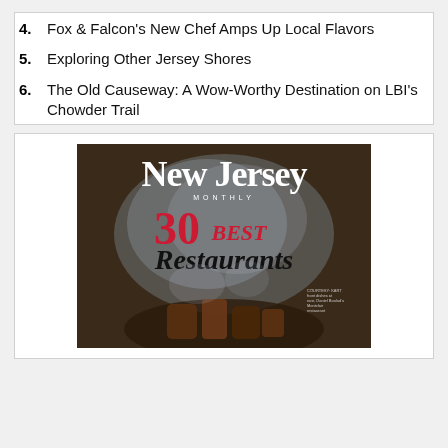4. Fox & Falcon's New Chef Amps Up Local Flavors
5. Exploring Other Jersey Shores
6. The Old Causeway: A Wow-Worthy Destination on LBI's Chowder Trail
[Figure (photo): Magazine cover of New Jersey Monthly featuring '30 Best Restaurants' with smoke rising from a food dish on a dark background]